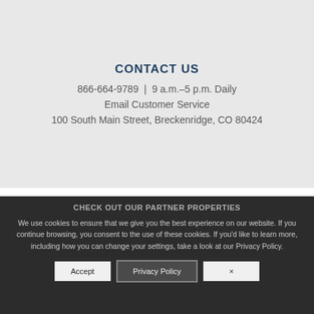CONTACT US
866-664-9789  |  9 a.m.–5 p.m. Daily
Email Customer Service
100 South Main Street, Breckenridge, CO 80424
CHECK OUT OUR PARTNER PROPERTIES
We use cookies to ensure that we give you the best experience on our website. If you continue browsing, you consent to the use of these cookies. If you'd like to learn more, including how you can change your settings, take a look at our Privacy Policy.
Accept
Privacy Policy
×